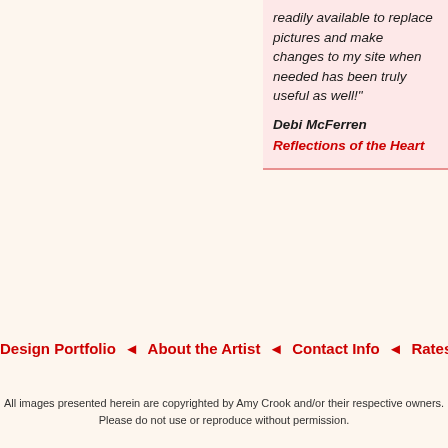readily available to replace pictures and make changes to my site when needed has been truly useful as well!"
Debi McFerren
Reflections of the Heart
Design Portfolio ◆ About the Artist ◆ Contact Info ◆ Rates a
All images presented herein are copyrighted by Amy Crook and/or their respective owners. Please do not use or reproduce without permission.